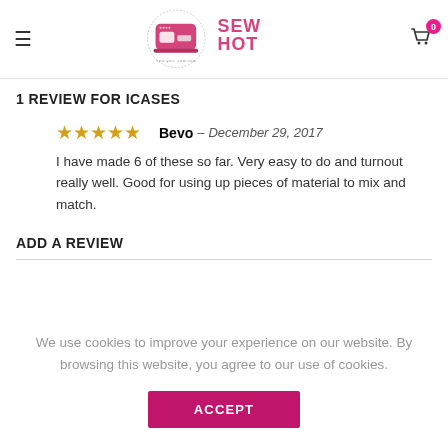Sew Hot – sew you. sew now.
1 REVIEW FOR ICASES
★★★★★  Bevo – December 29, 2017
I have made 6 of these so far. Very easy to do and turnout really well. Good for using up pieces of material to mix and match.
ADD A REVIEW
We use cookies to improve your experience on our website. By browsing this website, you agree to our use of cookies.
ACCEPT